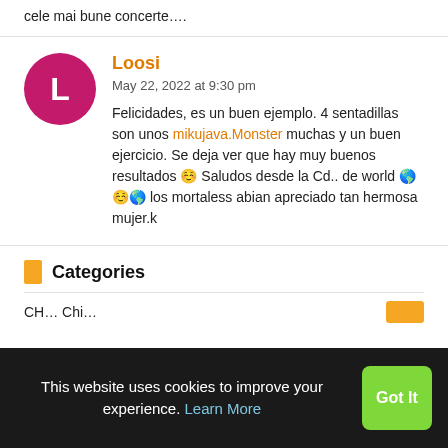cele mai bune concerte....
Loosi
May 22, 2022 at 9:30 pm
Felicidades, es un buen ejemplo. 4 sentadillas son unos mikujava.Monster muchas y un buen ejercicio. Se deja ver que hay muy buenos resultados ☺️ Saludos desde la Cd.. de world 🌎☺️🌎 los mortaless abian apreciado tan hermosa mujer.k
Categories
This website uses cookies to improve your experience. Learn More